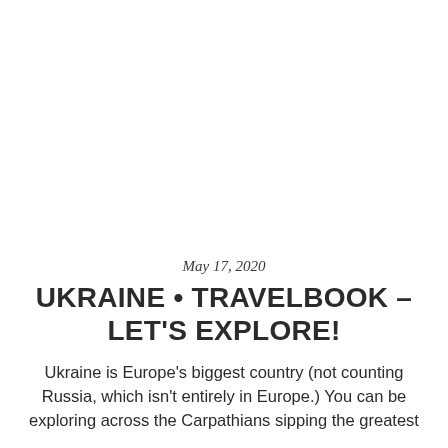May 17, 2020
UKRAINE • TRAVELBOOK – LET'S EXPLORE!
Ukraine is Europe's biggest country (not counting Russia, which isn't entirely in Europe.) You can be exploring across the Carpathians sipping the greatest